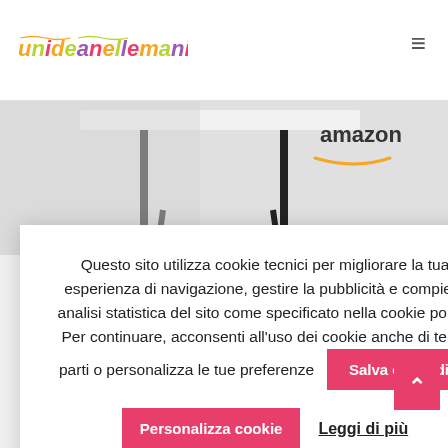unideanellemani
[Figure (photo): Product image showing a white table/desk with black legs, with Amazon logo overlay in top right]
rà farlo ancora.
ti quelli che lascerete
Questo sito utilizza cookie tecnici per migliorare la tua esperienza di navigazione, gestire la pubblicità e compiere analisi statistica del sito come specificato nella cookie policy. Per continuare, acconsenti all'uso dei cookie anche di terze parti o personalizza le tue preferenze
Salva e chiudi
Personalizza cookie
Leggi di più
nellemani.it
nideanellemani.it o
ui
on EU. In qualità di